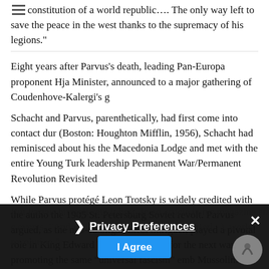constitution of a world republic…. The only way left to save the peace in the west thanks to the supremacy of his legions."
Eight years after Parvus's death, leading Pan-Europa proponent Hja Minister, announced to a major gathering of Coudenhove-Kalergi's g
Schacht and Parvus, parenthetically, had first come into contact dur (Boston: Houghton Mifflin, 1956), Schacht had reminisced about his the Macedonia Lodge and met with the entire Young Turk leadership Permanent War/Permanent Revolution Revisited
While Parvus protégé Leon Trotsky is widely credited with the autho the 1905 St. Petersburg Soviet revolt. Parvus argued, as the neo-co oligarchical intriguer, played a pivotal role in King Edward VII's orche seeds for the next war, promoting the same “universal fascism” emb Mussolini.
Trotsky codified the Parvus outlook, in his two famous works, Perma which Marx attached to this concept, means a revolution which a measures and to war against reaction from without; that is, a revolu
But Parvus himself said it best. In an article in his magazine era, c events. "And in The Class the Proletariat (Berl ), world revolution."